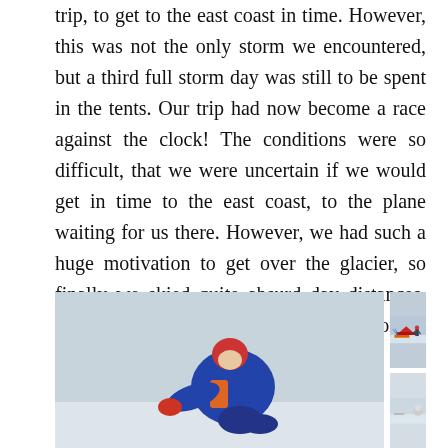trip, to get to the east coast in time. However, this was not the only storm we encountered, but a third full storm day was still to be spent in the tents. Our trip had now become a race against the clock! The conditions were so difficult, that we were uncertain if we would get in time to the east coast, to the plane waiting for us there. However, we had such a huge motivation to get over the glacier, so finally we skied quite absurd day distances. 14 hours and 40 km were at the end a normal day…
[Figure (photo): A person in blue and orange winter gear crouching or falling on snow/ice, against a pale grey-white sky background.]
[Figure (photo): A person in winter gear standing near a red tent and orange sledge in a snowy landscape with skis visible.]
[Figure (photo): Partial view of a snowy scene with a figure or gear, bottom-right area of the page, partially cut off.]